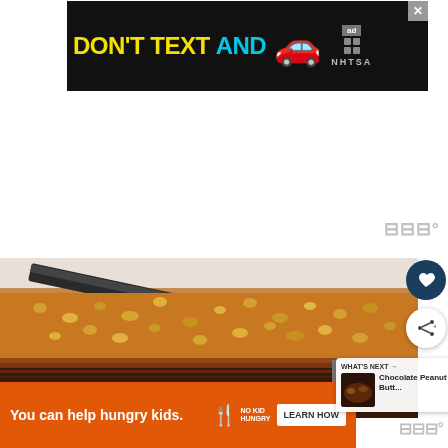[Figure (screenshot): Advertisement banner: dark background with yellow text 'DON'T TEXT AND' in cyan, followed by a red car emoji, and NHTSA ad logo on the right. Close button (X) in corner.]
[Figure (photo): Close-up photo of a chocolate toffee bark with chopped peanuts on top, being cut with a large knife. Brown chocolate base visible from the side.]
[Figure (screenshot): WHAT'S NEXT panel showing thumbnail of chocolate peanut butter recipe with title 'Chocolate Peanut Butt...']
[Figure (screenshot): Bottom advertisement banner with orange background: 'You can help hungry kids.' with No Kid Hungry logo and 'LEARN HOW' button.]